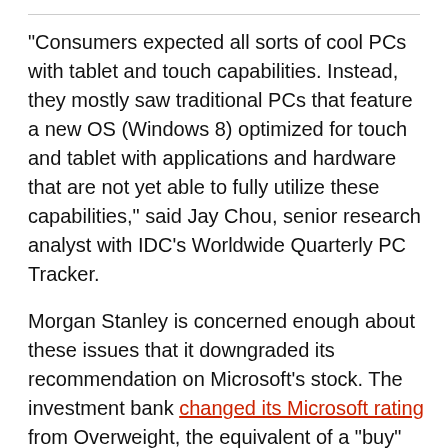"Consumers expected all sorts of cool PCs with tablet and touch capabilities. Instead, they mostly saw traditional PCs that feature a new OS (Windows 8) optimized for touch and tablet with applications and hardware that are not yet able to fully utilize these capabilities," said Jay Chou, senior research analyst with IDC's Worldwide Quarterly PC Tracker.
Morgan Stanley is concerned enough about these issues that it downgraded its recommendation on Microsoft's stock. The investment bank changed its Microsoft rating from Overweight, the equivalent of a "buy"